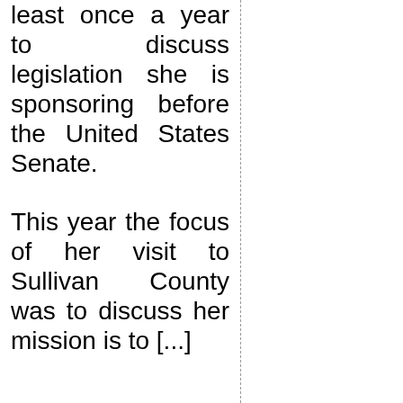least once a year to discuss legislation she is sponsoring before the United States Senate.
This year the focus of her visit to Sullivan County was to discuss her mission is to [...]